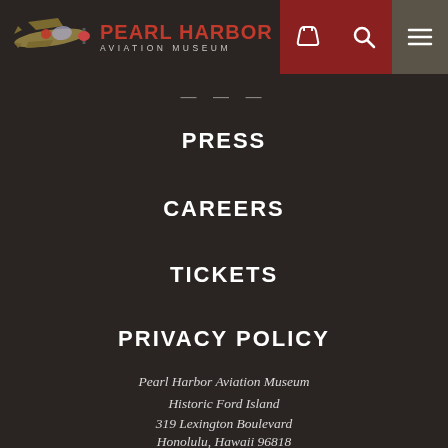[Figure (logo): Pearl Harbor Aviation Museum logo with WWII airplane and red text]
PRESS
CAREERS
TICKETS
PRIVACY POLICY
Pearl Harbor Aviation Museum
Historic Ford Island
319 Lexington Boulevard
Honolulu, Hawaii 96818